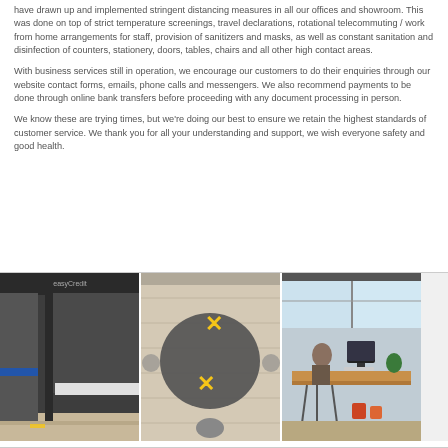have drawn up and implemented stringent distancing measures in all our offices and showroom. This was done on top of strict temperature screenings, travel declarations, rotational telecommuting / work from home arrangements for staff, provision of sanitizers and masks, as well as constant sanitation and disinfection of counters, stationery, doors, tables, chairs and all other high contact areas.
With business services still in operation, we encourage our customers to do their enquiries through our website contact forms, emails, phone calls and messengers. We also recommend payments to be done through online bank transfers before proceeding with any document processing in person.
We know these are trying times, but we're doing our best to ensure we retain the highest standards of customer service. We thank you for all your understanding and support, we wish everyone safety and good health.
[Figure (photo): Three office photos showing COVID-19 distancing measures: a partitioned office space, a round table with yellow cross markers indicating distancing seats, and a workstation with a person working at a desk.]